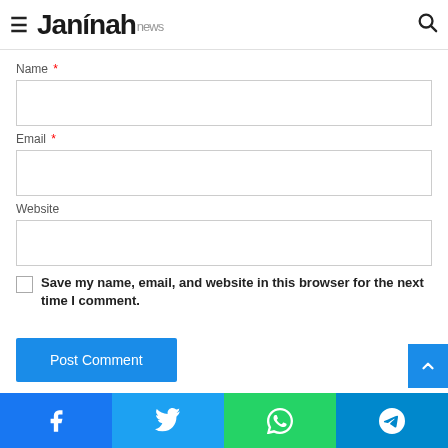Jannah news
Name *
Email *
Website
Save my name, email, and website in this browser for the next time I comment.
Post Comment
Facebook | Twitter | WhatsApp | Telegram